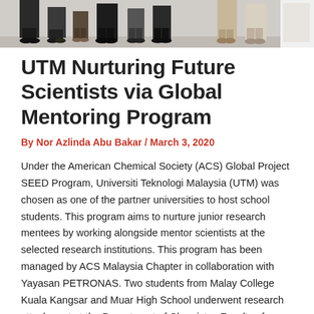[Figure (photo): Partial view of a group of people standing, showing lower bodies and feet, cropped photo at the top of the page]
UTM Nurturing Future Scientists via Global Mentoring Program
By Nor Azlinda Abu Bakar / March 3, 2020
Under the American Chemical Society (ACS) Global Project SEED Program, Universiti Teknologi Malaysia (UTM) was chosen as one of the partner universities to host school students. This program aims to nurture junior research mentees by working alongside mentor scientists at the selected research institutions. This program has been managed by ACS Malaysia Chapter in collaboration with Yayasan PETRONAS. Two students from Malay College Kuala Kangsar and Muar High School underwent research attachment at the Department of Chemistry, Faculty of Science, UTM for a month, starting from 1st December till 31st December 2019.